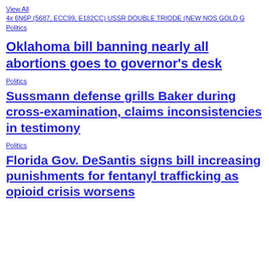View All
4x 6N6P (5687, ECC99, E182CC) USSR DOUBLE TRIODE (NEW NOS GOLD G
Politics
Oklahoma bill banning nearly all abortions goes to governor's desk
Politics
Sussmann defense grills Baker during cross-examination, claims inconsistencies in testimony
Politics
Florida Gov. DeSantis signs bill increasing punishments for fentanyl trafficking as opioid crisis worsens